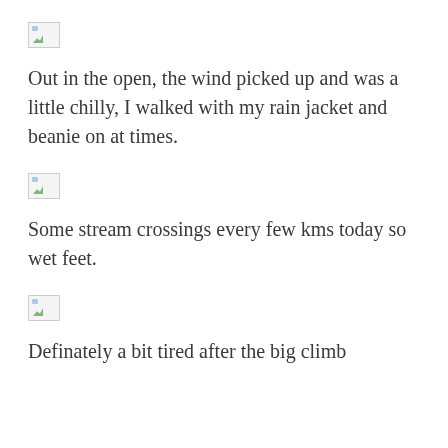[Figure (photo): Broken/missing image placeholder (small image icon with green landscape and blue sky)]
Out in the open, the wind picked up and was a little chilly, I walked with my rain jacket and beanie on at times.
[Figure (photo): Broken/missing image placeholder (small image icon with green landscape and blue sky)]
Some stream crossings every few kms today so wet feet.
[Figure (photo): Broken/missing image placeholder (small image icon with green landscape and blue sky)]
Definately a bit tired after the big climb